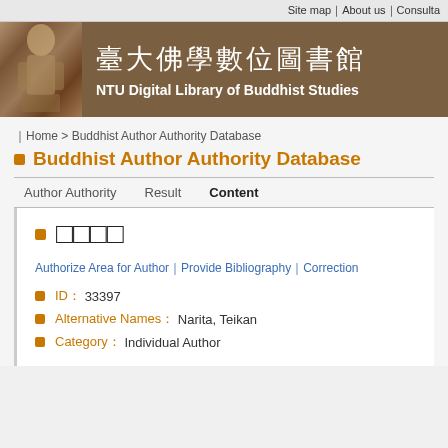Site map｜About us｜Consulta
[Figure (screenshot): NTU Digital Library of Buddhist Studies header banner with statue image and Chinese/English title]
｜Home > Buddhist Author Authority Database
Buddhist Author Authority Database
Author Authority   Result   Content
成郊田成
Authorize Area for Author｜Provide Bibliography｜Correction
ID： 33397
Alternative Names： Narita, Teikan
Category： Individual Author